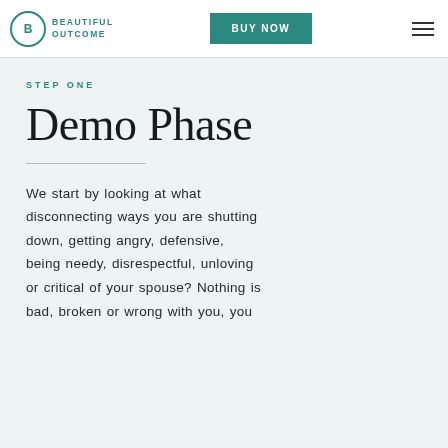BEAUTIFUL OUTCOME | BUY NOW
STEP ONE
Demo Phase
We start by looking at what disconnecting ways you are shutting down, getting angry, defensive, being needy, disrespectful, unloving or critical of your spouse? Nothing is bad, broken or wrong with you, you